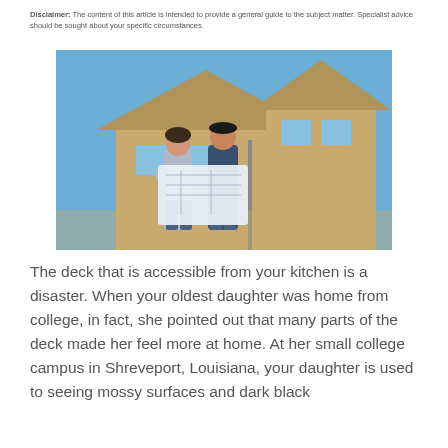Disclaimer: The content of this article is intended to provide a general guide to the subject matter. Specialist advice should be sought about your specific circumstances.
[Figure (photo): A man and woman standing in front of a house under construction, looking at architectural blueprints together.]
The deck that is accessible from your kitchen is a disaster. When your oldest daughter was home from college, in fact, she pointed out that many parts of the deck made her feel more at home. At her small college campus in Shreveport, Louisiana, your daughter is used to seeing mossy surfaces and dark black